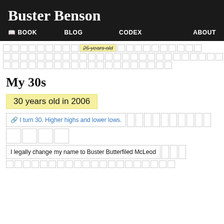Buster Benson
📖 BOOK   BLOG   CODEX   ABOUT
[Figure (other): Grid of small calendar/week cells with '25 years old' highlighted label near top]
My 30s
30 years old in 2006
🔗 I turn 30. Higher highs and lower lows.
I legally change my name to Buster Butterfiled McLeod